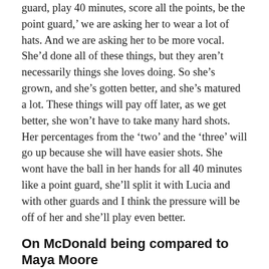guard, play 40 minutes, score all the points, be the point guard,' we are asking her to wear a lot of hats. And we are asking her to be more vocal. She'd done all of these things, but they aren't necessarily things she loves doing. So she's grown, and she's gotten better, and she's matured a lot. These things will pay off later, as we get better, she won't have to take many hard shots. Her percentages from the 'two' and the 'three' will go up because she will have easier shots. She wont have the ball in her hands for all 40 minutes like a point guard, she'll split it with Lucia and with other guards and I think the pressure will be off of her and she'll play even better.
On McDonald being compared to Maya Moore
McDonald and Moore are the only two players in Division I history with 800 points, 200 rebounds and